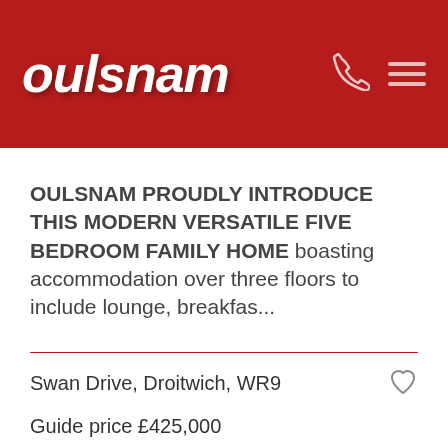oulsnam
OULSNAM PROUDLY INTRODUCE THIS MODERN VERSATILE FIVE BEDROOM FAMILY HOME boasting accommodation over three floors to include lounge, breakfas...
Swan Drive, Droitwich, WR9
Guide price £425,000
3  1